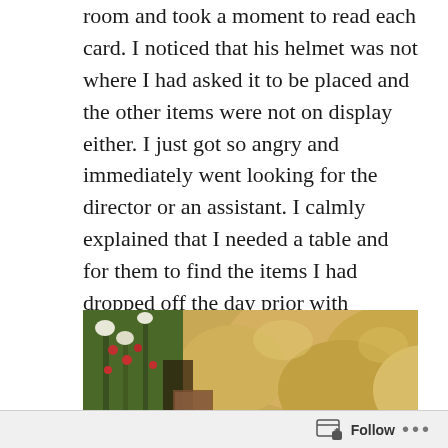room and took a moment to read each card. I noticed that his helmet was not where I had asked it to be placed and the other items were not on display either. I just got so angry and immediately went looking for the director or an assistant. I calmly explained that I needed a table and for them to find the items I had dropped off the day prior with specific instructions.
They moved a table for me and I set up his memorial table with his picture, poem, helmet, bandana, flowers and a wooden plaque to be signed.
[Figure (photo): A memorial table showing stuffed animals, flowers with red berries and green foliage, and other memorial items.]
Follow ...